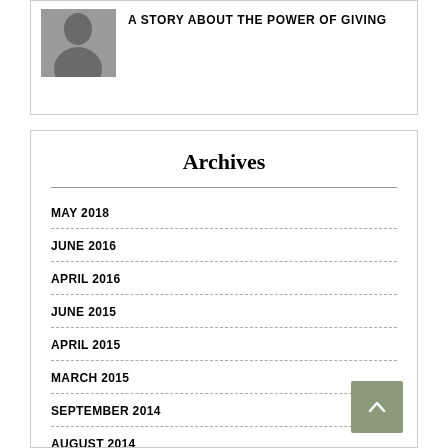[Figure (photo): Black and white photo of a person, cropped to head and shoulders]
A STORY ABOUT THE POWER OF GIVING
Archives
MAY 2018
JUNE 2016
APRIL 2016
JUNE 2015
APRIL 2015
MARCH 2015
SEPTEMBER 2014
AUGUST 2014